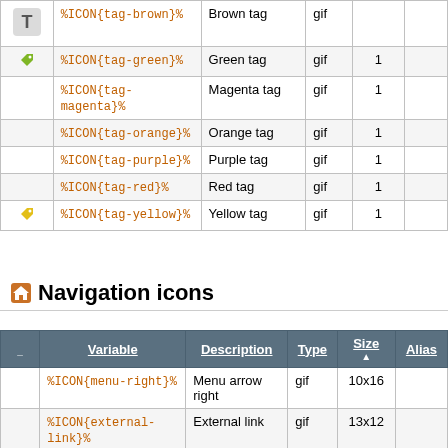|  | Variable | Description | Type | Size | Alias |
| --- | --- | --- | --- | --- | --- |
| [tag-brown icon] | %ICON{tag-brown}% | Brown tag | gif |  |  |
| [tag-green icon] | %ICON{tag-green}% | Green tag | gif | 1 |  |
|  | %ICON{tag-magenta}% | Magenta tag | gif | 1 |  |
|  | %ICON{tag-orange}% | Orange tag | gif | 1 |  |
|  | %ICON{tag-purple}% | Purple tag | gif | 1 |  |
|  | %ICON{tag-red}% | Red tag | gif | 1 |  |
| [tag-yellow icon] | %ICON{tag-yellow}% | Yellow tag | gif | 1 |  |
Navigation icons
|  | Variable | Description | Type | Size | Alias |
| --- | --- | --- | --- | --- | --- |
|  | %ICON{menu-right}% | Menu arrow right | gif | 10x16 |  |
|  | %ICON{external-link}% | External link | gif | 13x12 |  |
| [menu-down arrow] | %ICON{menu-down}% | Menu dropdown | gif | 14x16 |  |
| [home icon] | %ICON{home}% | Home | gif | 16x16 |  |